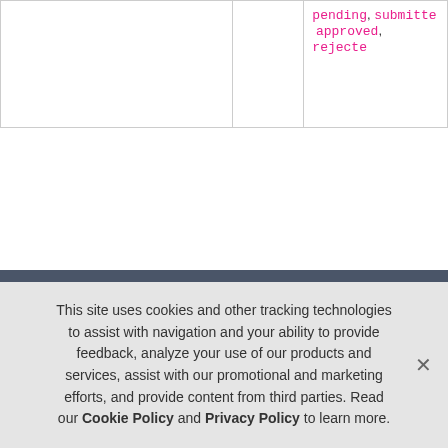|  |  | pending, submitted,
approved, rejected |
About
DigiCert is the world's leading provider of scalable TLS/SSL, IoT and PKI
This site uses cookies and other tracking technologies to assist with navigation and your ability to provide feedback, analyze your use of our products and services, assist with our promotional and marketing efforts, and provide content from third parties. Read our Cookie Policy and Privacy Policy to learn more.